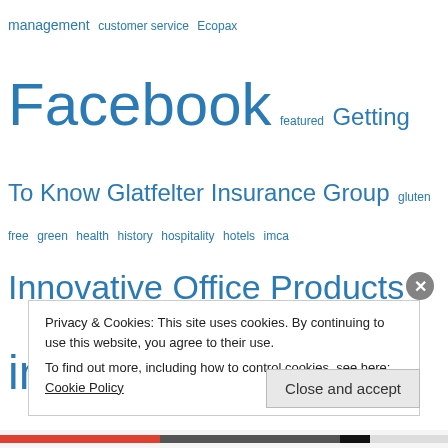management customer service Ecopax Facebook featured Getting To Know Glatfelter Insurance Group gluten free green health history hospitality hotels imca Innovative Office Products insurance internships in the news KidsPeace labor marketing media relations messaging mobile Mobile Technology NAPCO natural products Natural Products Expo East online reviews Pitch pr press releases Public Relations real estate reputation management ReSource Pro Shopping small business social media social media management social media platforms summer Survey sustainability
Privacy & Cookies: This site uses cookies. By continuing to use this website, you agree to their use.
To find out more, including how to control cookies, see here: Cookie Policy
Close and accept